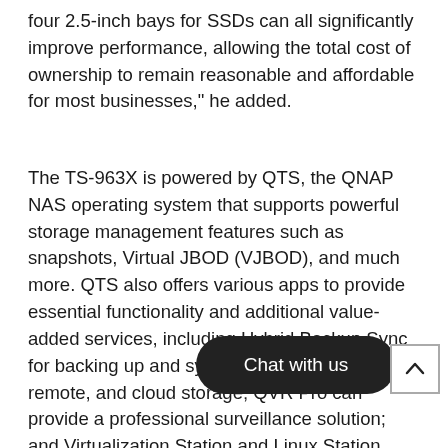four 2.5-inch bays for SSDs can all significantly improve performance, allowing the total cost of ownership to remain reasonable and affordable for most businesses," he added.
The TS-963X is powered by QTS, the QNAP NAS operating system that supports powerful storage management features such as snapshots, Virtual JBOD (VJBOD), and much more. QTS also offers various apps to provide essential functionality and additional value-added services, including Hybrid Backup Sync for backing up and syncing files with local, remote, and cloud storage; QVR Pro can provide a professional surveillance solution; and Virtualization Station and Linux Station allow users to host virtual machines that run Windows, Linux, or UNIX-like operating systems. Many more apps from QNAP and trusted p[artners are] able to download from the QTS App Cent[er. QTS is] also VMware ready, Citrix ready and Windows Server [certi fied.]